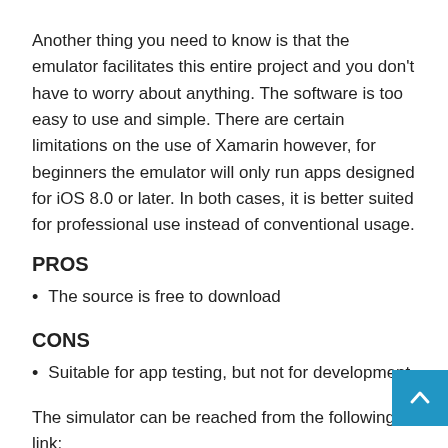Another thing you need to know is that the emulator facilitates this entire project and you don't have to worry about anything. The software is too easy to use and simple. There are certain limitations on the use of Xamarin however, for beginners the emulator will only run apps designed for iOS 8.0 or later. In both cases, it is better suited for professional use instead of conventional usage.
PROS
The source is free to download
CONS
Suitable for app testing, but not for development
The simulator can be reached from the following link: